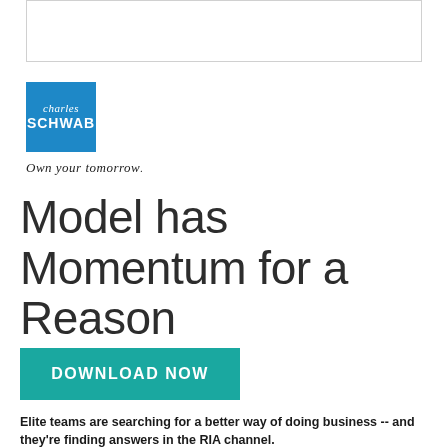[Figure (other): Placeholder image area at the top of the page, white box with border]
[Figure (logo): Charles Schwab logo — blue square with 'charles SCHWAB' text, and 'Own your tomorrow' italic tagline below]
Model has Momentum for a Reason
DOWNLOAD NOW
Elite teams are searching for a better way of doing business -- and they're finding answers in the RIA channel.
Learn why billion-dollar teams are breaking away to pursue the